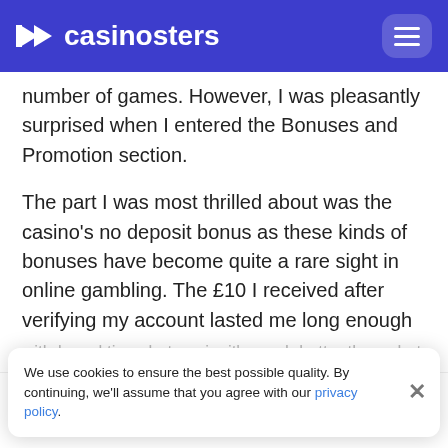casinosters
number of games. However, I was pleasantly surprised when I entered the Bonuses and Promotion section.

The part I was most thrilled about was the casino's no deposit bonus as these kinds of bonuses have become quite a rare sight in online gambling. The £10 I received after verifying my account lasted me long enough to test a couple of games and get the feel of the platform.
We use cookies to ensure the best possible quality. By continuing, we'll assume that you agree with our privacy policy.
withdrawal time, but again, it's much better than what most other casinos offer.
PocketWin Casino Review
9.1